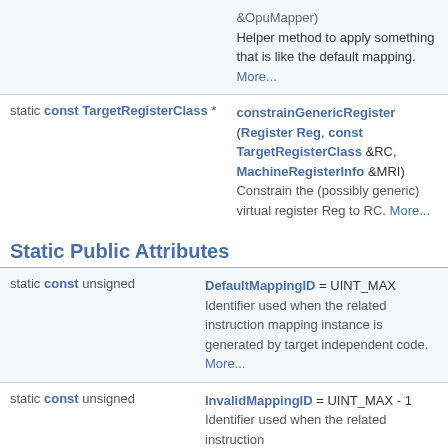|  |  |
| --- | --- |
| static const TargetRegisterClass * | &OpuMapper)
Helper method to apply something that is like the default mapping. More... |
| static const TargetRegisterClass * | constrainGenericRegister (Register Reg, const TargetRegisterClass &RC, MachineRegisterInfo &MRI)
Constrain the (possibly generic) virtual register Reg to RC. More... |
Static Public Attributes
|  |  |
| --- | --- |
| static const unsigned | DefaultMappingID = UINT_MAX
Identifier used when the related instruction mapping instance is generated by target independent code. More... |
| static const unsigned | InvalidMappingID = UINT_MAX - 1
Identifier used when the related instruction |